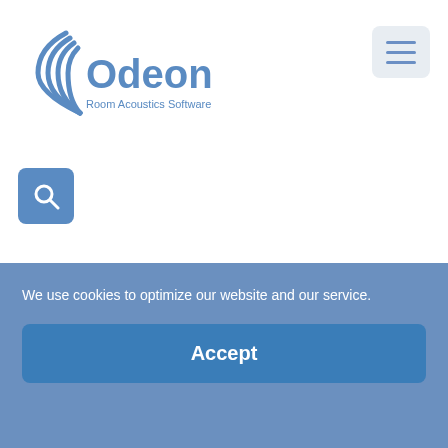[Figure (logo): Odeon Room Acoustics Software logo with acoustic wave arcs and text]
[Figure (screenshot): Hamburger menu button (three horizontal lines) in a rounded rectangle]
[Figure (screenshot): Search (magnifying glass) icon button in blue rounded square]
Open-plan office
We use cookies to optimize our website and our service.
Accept